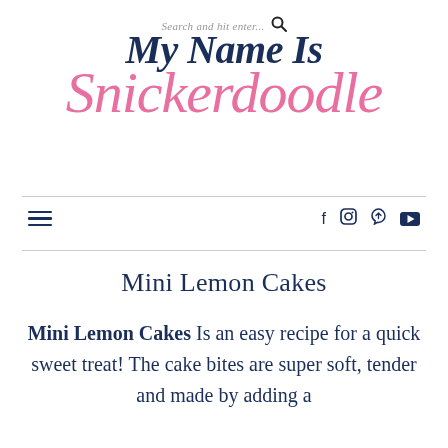Search and hit enter...
[Figure (logo): My Name Is Snickerdoodle blog logo in navy and pink script lettering]
Navigation bar with hamburger menu and social icons (Facebook, Instagram, Pinterest, YouTube)
Mini Lemon Cakes
Mini Lemon Cakes Is an easy recipe for a quick sweet treat! The cake bites are super soft, tender and made by adding a